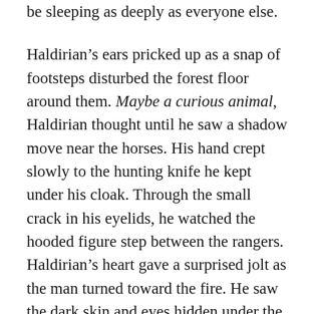be sleeping as deeply as everyone else.
Haldirian's ears pricked up as a snap of footsteps disturbed the forest floor around them. Maybe a curious animal, Haldirian thought until he saw a shadow move near the horses. His hand crept slowly to the hunting knife he kept under his cloak. Through the small crack in his eyelids, he watched the hooded figure step between the rangers. Haldirian's heart gave a surprised jolt as the man turned toward the fire. He saw the dark skin and eyes hidden under the hood.
Easterner.